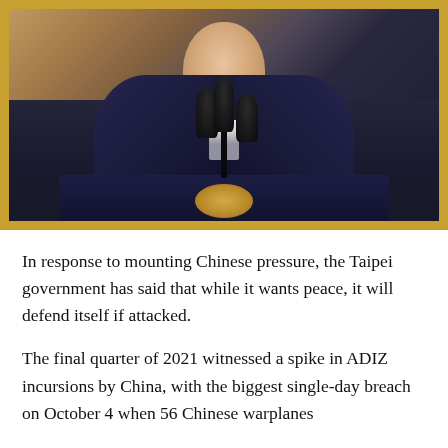[Figure (photo): A man in a dark navy blue suit stands at a podium with multiple microphones, speaking. Behind him is a large ornate painting in a gold frame depicting a figure on horseback. The setting appears to be an official government room.]
In response to mounting Chinese pressure, the Taipei government has said that while it wants peace, it will defend itself if attacked.
The final quarter of 2021 witnessed a spike in ADIZ incursions by China, with the biggest single-day breach on October 4 when 56 Chinese warplanes entered the